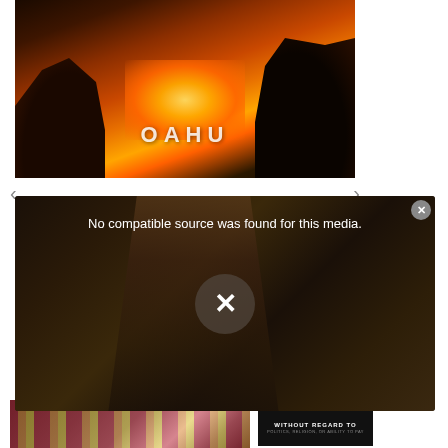[Figure (photo): Sunset landscape photo showing rocky cliffs framing an ocean view with bright orange and golden sun glow, with text 'OAHU' overlaid in white letters]
[Figure (screenshot): Video player modal overlay showing 'No compatible source was found for this media.' error message with an X dismiss button, over a dark background showing a chef in a kitchen]
[Figure (photo): Strip of the same Oahu sunset image with 'OAHU' text visible]
[Figure (photo): Southwest Airlines aircraft being loaded with cargo, with a dark banner reading 'WITHOUT REGARD TO' and smaller text below]